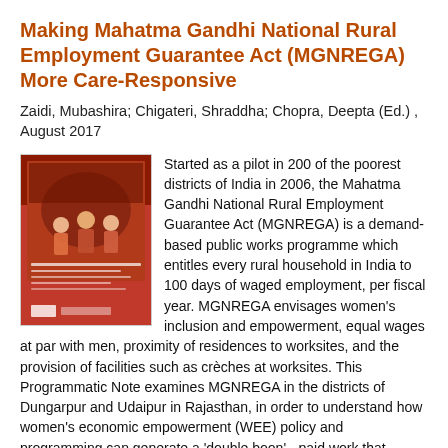Making Mahatma Gandhi National Rural Employment Guarantee Act (MGNREGA) More Care-Responsive
Zaidi, Mubashira; Chigateri, Shraddha; Chopra, Deepta (Ed.) ,  August 2017
[Figure (illustration): Book cover of the MGNREGA publication showing workers in a rural setting with red and orange design elements]
Started as a pilot in 200 of the poorest districts of India in 2006, the Mahatma Gandhi National Rural Employment Guarantee Act (MGNREGA) is a demand-based public works programme which entitles every rural household in India to 100 days of waged employment, per fiscal year. MGNREGA envisages women's inclusion and empowerment, equal wages at par with men, proximity of residences to worksites, and the provision of facilities such as crèches at worksites. This Programmatic Note examines MGNREGA in the districts of Dungarpur and Udaipur in Rajasthan, in order to understand how women's economic empowerment (WEE) policy and programming can generate a 'double boon' - paid work that empowers women and provides more support for their unpaid care work responsibilities. The research highlights inflexible timings in MGNREGA, hard, back breaking tasks, and poor facilities at the worksite. These, taken in combination with the time-consuming and intensive care work that women need to perform in the absence of essential public services, induces high levels of drudgery in women's